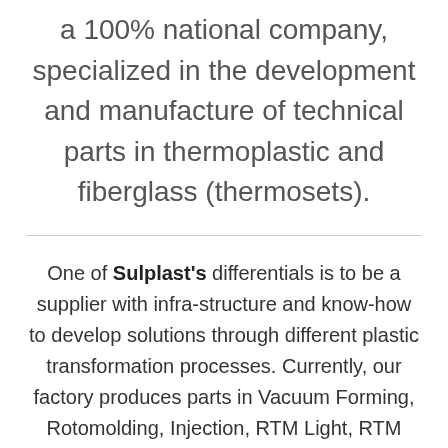a 100% national company, specialized in the development and manufacture of technical parts in thermoplastic and fiberglass (thermosets).
One of Sulplast's differentials is to be a supplier with infra-structure and know-how to develop solutions through different plastic transformation processes. Currently, our factory produces parts in Vacuum Forming, Rotomolding, Injection, RTM Light, RTM Skin and Hand Lay Up (HLU), in addition to extruding